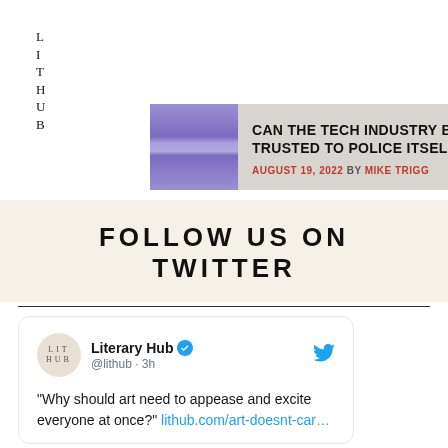LIT HUB
[Figure (screenshot): Article card with purple abstract image thumbnail. Title: CAN THE TECH INDUSTRY BE TRUSTED TO POLICE ITSELF? August 19, 2022 by Mike Trigg]
FOLLOW US ON TWITTER
[Figure (screenshot): Embedded tweet from Literary Hub @lithub · 3h: 'Why should art need to appease and excite everyone at once?' lithub.com/art-doesnt-car…]